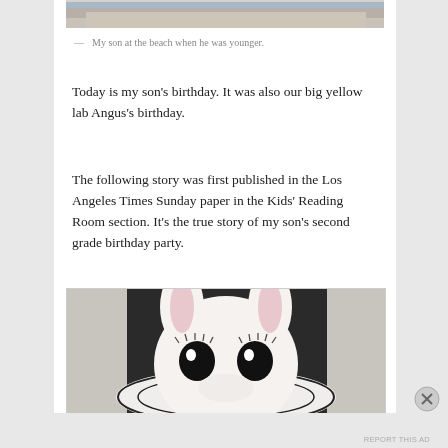[Figure (photo): Top portion of a photo showing a beach scene, partially cropped at top of page]
— My son at the beach when he was younger.
Today is my son's birthday. It was also our big yellow lab Angus's birthday.
The following story was first published in the Los Angeles Times Sunday paper in the Kids' Reading Room section. It's the true story of my son's second grade birthday party.
[Figure (photo): Close-up photo of a white stuffed bunny rabbit toy with large eyes and eyelashes, wearing a decorative hat with black and white pattern]
Advertisements